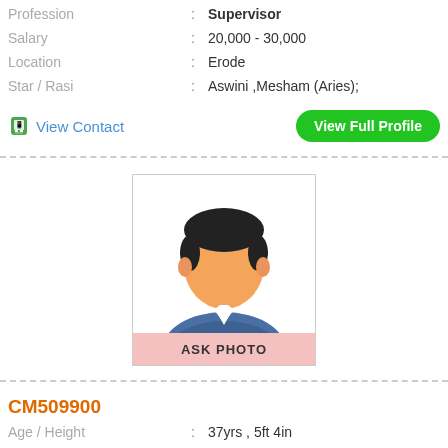Profession : Supervisor
Salary : 20,000 - 30,000
Location : Erode
Star / Rasi : Aswini ,Mesham (Aries);
View Contact | View Full Profile
[Figure (illustration): Generic male avatar placeholder with 'ASK PHOTO' label at bottom]
CM509900
Age / Height : 37yrs , 5ft 4in
Religion : Hindu
Caste / Subcaste : Arunthathiyar, None
Education : B.Lit, B.Ed